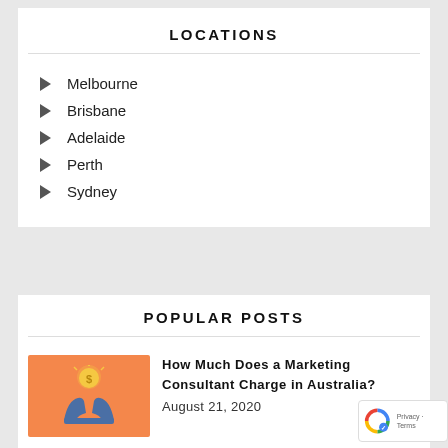LOCATIONS
Melbourne
Brisbane
Adelaide
Perth
Sydney
POPULAR POSTS
[Figure (illustration): Orange background with hands holding a coin icon]
How Much Does a Marketing Consultant Charge in Australia?
August 21, 2020
[Figure (photo): Dark red microscopic virus image]
The Coronavirus Downturn... Adjust Your Marketing Plan